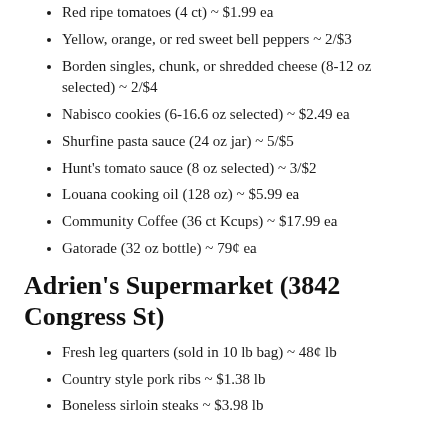Red ripe tomatoes (4 ct) ~ $1.99 ea
Yellow, orange, or red sweet bell peppers ~ 2/$3
Borden singles, chunk, or shredded cheese (8-12 oz selected) ~ 2/$4
Nabisco cookies (6-16.6 oz selected) ~ $2.49 ea
Shurfine pasta sauce (24 oz jar) ~ 5/$5
Hunt's tomato sauce (8 oz selected) ~ 3/$2
Louana cooking oil (128 oz) ~ $5.99 ea
Community Coffee (36 ct Kcups) ~ $17.99 ea
Gatorade (32 oz bottle) ~ 79¢ ea
Adrien's Supermarket (3842 Congress St)
Fresh leg quarters (sold in 10 lb bag) ~ 48¢ lb
Country style pork ribs ~ $1.38 lb
Boneless sirloin steaks ~ $3.98 lb